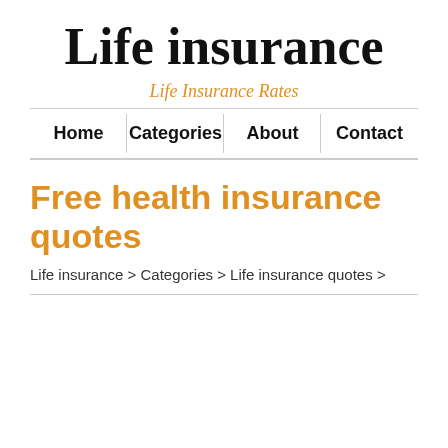Life insurance
Life Insurance Rates
Home | Categories | About | Contact
Free health insurance quotes
Life insurance > Categories > Life insurance quotes >